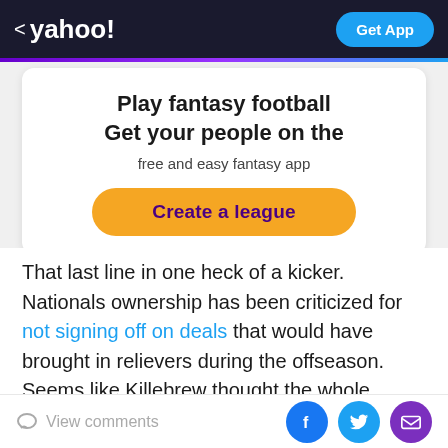< yahoo!  Get App
[Figure (infographic): Yahoo Fantasy Football promotional card with headline 'Play fantasy football Get your people on the free and easy fantasy app' and an orange 'Create a league' button]
That last line in one heck of a kicker. Nationals ownership has been criticized for not signing off on deals that would have brought in relievers during the offseason. Seems like Killebrew thought the whole organization needed a wake-up call.
From the sound of it, Killebrew was a passionate baseball
View comments  [Facebook] [Twitter] [Mail]